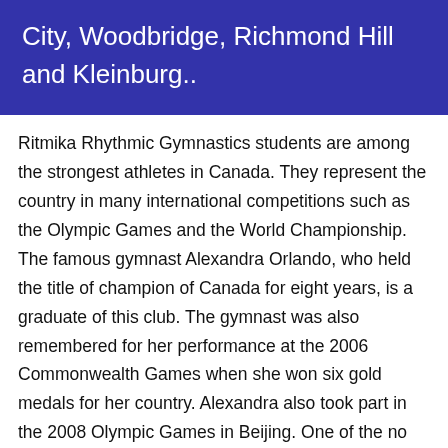City, Woodbridge, Richmond Hill and Kleinburg..
Ritmika Rhythmic Gymnastics students are among the strongest athletes in Canada. They represent the country in many international competitions such as the Olympic Games and the World Championship. The famous gymnast Alexandra Orlando, who held the title of champion of Canada for eight years, is a graduate of this club. The gymnast was also remembered for her performance at the 2006 Commonwealth Games when she won six gold medals for her country. Alexandra also took part in the 2008 Olympic Games in Beijing. One of the no less famous club graduates is also Mary Sanders.